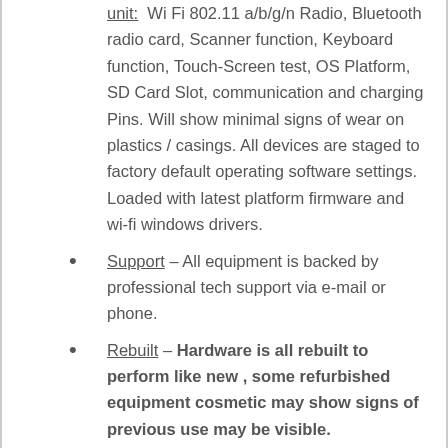unit:  Wi Fi 802.11 a/b/g/n Radio, Bluetooth radio card, Scanner function, Keyboard function, Touch-Screen test, OS Platform, SD Card Slot, communication and charging Pins. Will show minimal signs of wear on plastics / casings. All devices are staged to factory default operating software settings. Loaded with latest platform firmware and wi-fi windows drivers.
Support – All equipment is backed by professional tech support via e-mail or phone.
Rebuilt – Hardware is all rebuilt to perform like new , some refurbished equipment cosmetic may show signs of previous use may be visible.